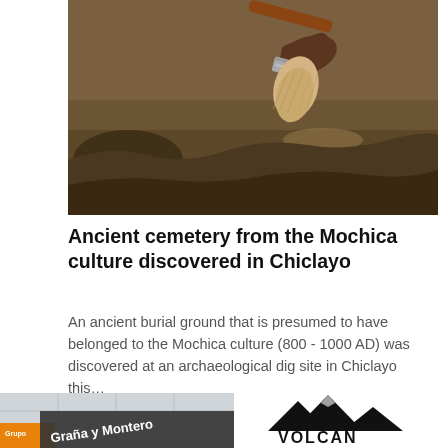[Figure (photo): Close-up photo of an archaeological brush dusting sediment at a dig site, showing dry earth and an artifact being uncovered.]
Ancient cemetery from the Mochica culture discovered in Chiclayo
An ancient burial ground that is presumed to have belonged to the Mochica culture (800 - 1000 AD) was discovered at an archaeological dig site in Chiclayo this…
[Figure (photo): Graña y Montero company signage on a building exterior showing the orange and white corporate logo.]
[Figure (logo): Volcan Compañía Minera S.A. logo showing stylized mountain peaks above the company name text.]